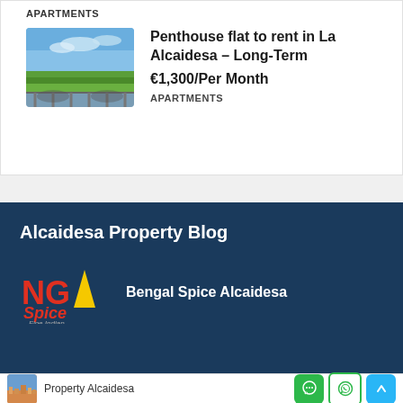APARTMENTS
[Figure (photo): Penthouse view photo showing green landscape and blue sky]
Penthouse flat to rent in La Alcaidesa – Long-Term
€1,300/Per Month
APARTMENTS
Alcaidesa Property Blog
[Figure (logo): NG Spice Fine Indian restaurant logo in red and yellow on dark blue background]
Bengal Spice Alcaidesa
Property Alcaidesa